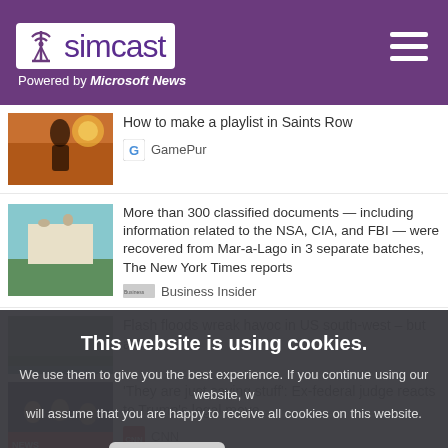simcast — Powered by Microsoft News
How to make a playlist in Saints Row — GamePur
More than 300 classified documents — including information related to the NSA, CIA, and FBI — were recovered from Mar-a-Lago in 3 separate batches, The New York Times reports — Business Insider
Flash floods wreak havoc in US south-west – but are no salve
This website is using cookies. We use them to give you the best experience. If you continue using our website, we will assume that you are happy to receive all cookies on this website.
'They are just saying stuff': Ex-federal judge reacts to Trump's legal move — CNN